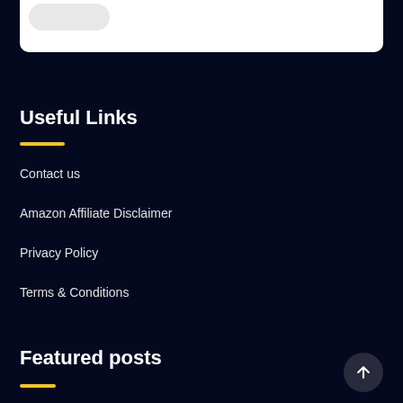[Figure (other): White card at top of dark page, partially visible with a rounded gray blob shape]
Useful Links
Contact us
Amazon Affiliate Disclaimer
Privacy Policy
Terms & Conditions
Featured posts